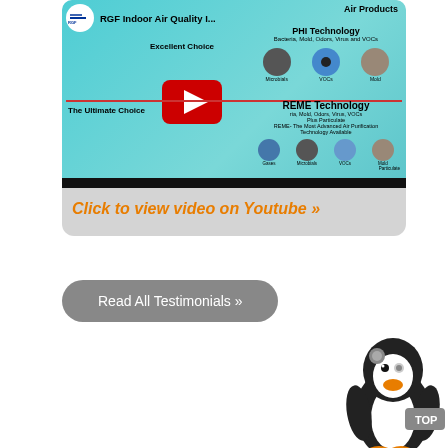[Figure (screenshot): YouTube video thumbnail for RGF Indoor Air Quality showing PHI and REME air purification technology products with a red YouTube play button overlay]
Click to view video on Youtube »
Read All Testimonials »
[Figure (illustration): Penguin mascot with TOP button overlay in bottom right corner]